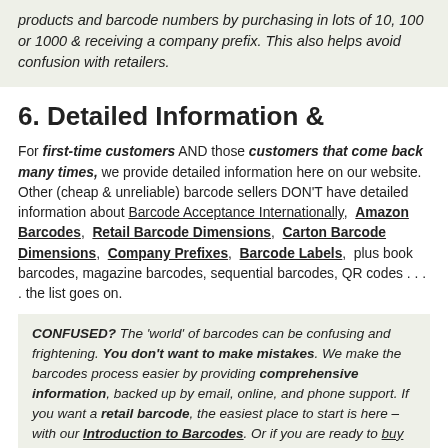products and barcode numbers by purchasing in lots of 10, 100 or 1000 & receiving a company prefix. This also helps avoid confusion with retailers.
6. Detailed Information &
For first-time customers AND those customers that come back many times, we provide detailed information here on our website. Other (cheap & unreliable) barcode sellers DON'T have detailed information about Barcode Acceptance Internationally, Amazon Barcodes, Retail Barcode Dimensions, Carton Barcode Dimensions, Company Prefixes, Barcode Labels, plus book barcodes, magazine barcodes, sequential barcodes, QR codes . . . . the list goes on.
CONFUSED? The 'world' of barcodes can be confusing and frightening. You don't want to make mistakes. We make the barcodes process easier by providing comprehensive information, backed up by email, online, and phone support. If you want a retail barcode, the easiest place to start is here – with our Introduction to Barcodes. Or if you are ready to buy barcodes look here.